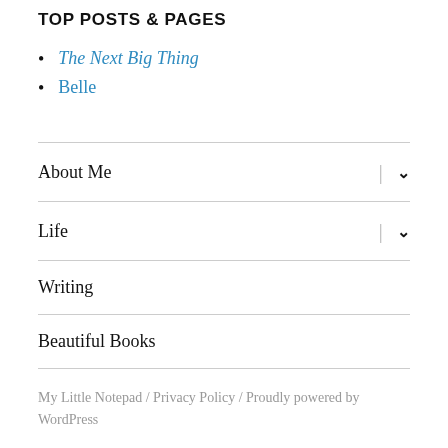TOP POSTS & PAGES
The Next Big Thing
Belle
About Me
Life
Writing
Beautiful Books
My Little Notepad / Privacy Policy / Proudly powered by WordPress